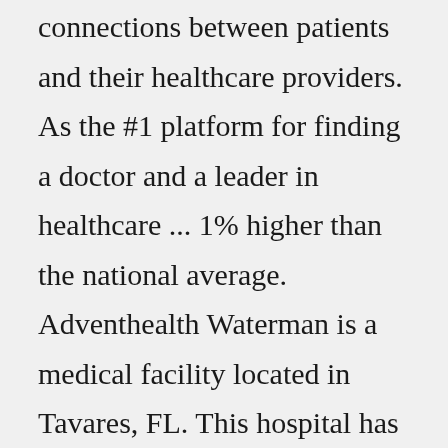connections between patients and their healthcare providers. As the #1 platform for finding a doctor and a leader in healthcare ... 1% higher than the national average. Adventhealth Waterman is a medical facility located in Tavares, FL. This hospital has been recognized for Outstanding Patient Experience Award™ and America's 100 Best Hospitals for Coronary Intervention Award™. Overview Hospital Quality Patient Experience Providers Reviews